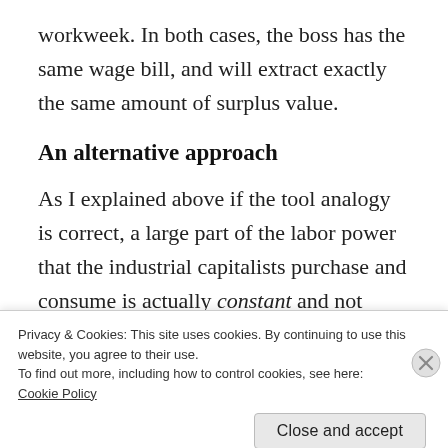workweek. In both cases, the boss has the same wage bill, and will extract exactly the same amount of surplus value.
An alternative approach
As I explained above if the tool analogy is correct, a large part of the labor power that the industrial capitalists purchase and consume is actually constant and not variable capital. This, I believe, is incorrect. In my
Privacy & Cookies: This site uses cookies. By continuing to use this website, you agree to their use.
To find out more, including how to control cookies, see here:
Cookie Policy
Close and accept